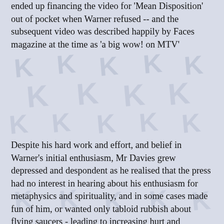ended up financing the video for 'Mean Disposition' out of pocket when Warner refused -- and the subsequent video was described happily by Faces magazine at the time as 'a big wow! on MTV'
Despite his hard work and effort, and belief in Warner's initial enthusiasm, Mr Davies grew depressed and despondent as he realised that the press had no interest in hearing about his enthusiasm for metaphysics and spirituality, and in some cases made fun of him, or wanted only tabloid rubbish about flying saucers - leading to increasing hurt and frustration with the promotion. Furthermore, he was upset that Warner did not back or promote him as promised, and, a lasting blow, Warner maintain until present day copyright control over the music and words. As a consequence the LP has not been released officially on compact disk; although six of its songs appeared on the UK Castle release of Anthology, all had to be left off its US counterpart Unfinished Business.